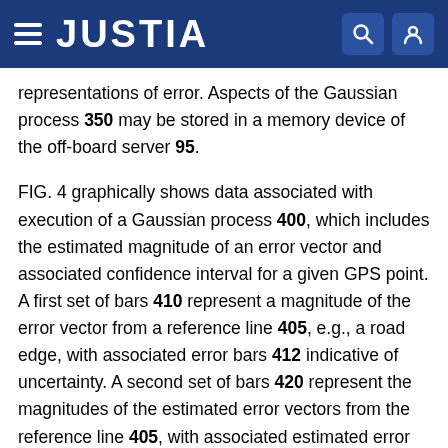JUSTIA
representations of error. Aspects of the Gaussian process 350 may be stored in a memory device of the off-board server 95.
FIG. 4 graphically shows data associated with execution of a Gaussian process 400, which includes the estimated magnitude of an error vector and associated confidence interval for a given GPS point. A first set of bars 410 represent a magnitude of the error vector from a reference line 405, e.g., a road edge, with associated error bars 412 indicative of uncertainty. A second set of bars 420 represent the magnitudes of the estimated error vectors from the reference line 405, with associated estimated error bars 422 indicative of uncertainty. Line 430 expresses the interpolated error, such that a GPS coordinate includes a mean historic error and a confidence interval, which can be reported.